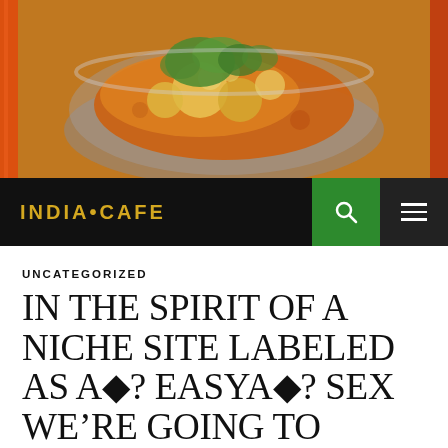[Figure (photo): Photograph of an Indian curry dish in a metal bowl with potatoes, cauliflower, and fresh cilantro garnish in orange/yellow sauce]
INDIA•CAFE
UNCATEGORIZED
IN THE SPIRIT OF A NICHE SITE LABELED AS A◆? EASYA◆? SEX WE’RE GOING TO BUILD YOUR LIFESTYLE QUICKER
OCTOBER 29, 2021  ADMIN  LEAVE A COMMENT